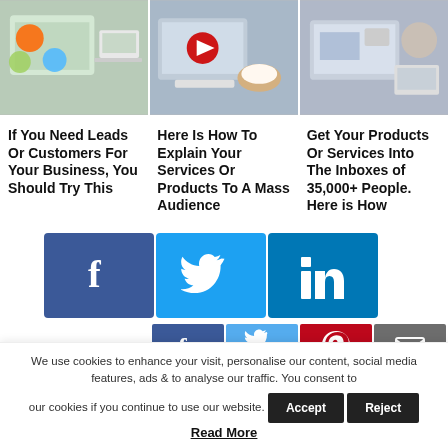[Figure (photo): Three thumbnail images in a row: left shows social media/digital marketing icons with a laptop, center shows a video tutorial with laptop and coffee cup, right shows a person typing on laptop with email/marketing overlays]
If You Need Leads Or Customers For Your Business, You Should Try This
Here Is How To Explain Your Services Or Products To A Mass Audience
Get Your Products Or Services Into The Inboxes of 35,000+ People. Here is How
[Figure (infographic): Large social media share buttons: Facebook (blue, f icon), Twitter (light blue, bird icon), LinkedIn (dark blue, in icon)]
[Figure (infographic): Small social share buttons row: Facebook (dark blue, f icon), Twitter (light blue, bird icon), Pinterest (red, P icon), Email (gray, envelope icon)]
We use cookies to enhance your visit, personalise our content, social media features, ads & to analyse our traffic. You consent to our cookies if you continue to use our website.
Accept
Reject
Read More